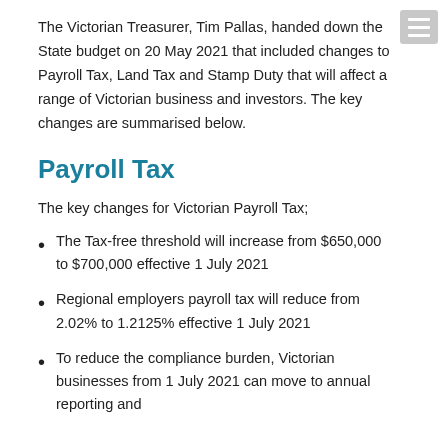The Victorian Treasurer, Tim Pallas, handed down the State budget on 20 May 2021 that included changes to Payroll Tax, Land Tax and Stamp Duty that will affect a range of Victorian business and investors. The key changes are summarised below.
Payroll Tax
The key changes for Victorian Payroll Tax;
The Tax-free threshold will increase from $650,000 to $700,000 effective 1 July 2021
Regional employers payroll tax will reduce from 2.02% to 1.2125% effective 1 July 2021
To reduce the compliance burden, Victorian businesses from 1 July 2021 can move to annual reporting and